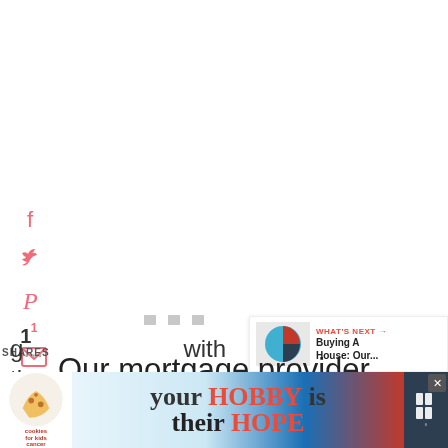[Figure (screenshot): Social share sidebar with Facebook, Twitter, Pinterest, Email, WhatsApp icons in pink/coral color on left side of page]
1
SHARES
[Figure (screenshot): Floating heart button with count 3 and share button on right side]
Our mortgage provider Natwest are really
g...with th... ...tion is
[Figure (screenshot): WHAT'S NEXT arrow banner with Buying A House: Our... text and thumbnail image]
[Figure (screenshot): Advertisement banner at bottom: cookies for kids cancer your HOBBY is their HOPE]